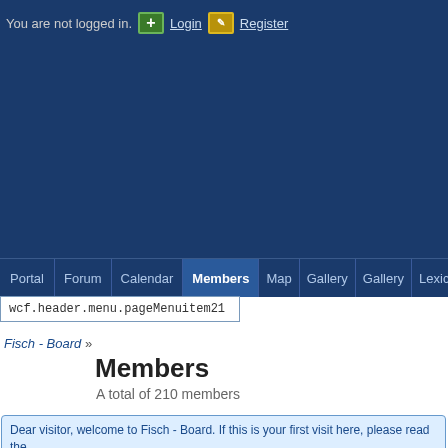You are not logged in. Login Register
Portal | Forum | Calendar | Members | Map | Gallery | Gallery | Lexicon
wcf.header.menu.pageMenuitem21
Fisch - Board »
Members
A total of 210 members
Dear visitor, welcome to Fisch - Board. If this is your first visit here, please read more information about the registration process. If you are already
Members list | Search members | Team members
All # A B C D E F G H I J K L M N O P U O